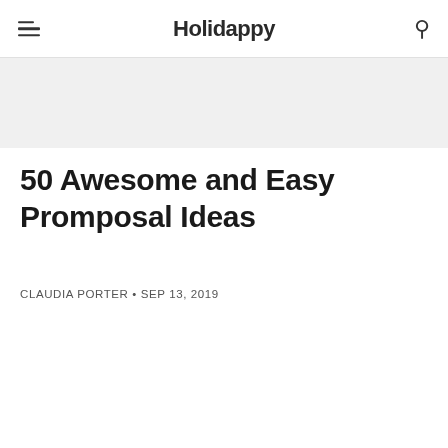Holidappy
50 Awesome and Easy Promposal Ideas
CLAUDIA PORTER • SEP 13, 2019